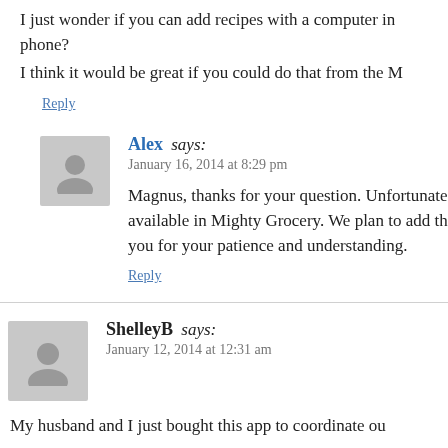I just wonder if you can add recipes with a computer instead of the phone? I think it would be great if you could do that from the M…
Reply
Alex says:
January 16, 2014 at 8:29 pm
Magnus, thanks for your question. Unfortunately… available in Mighty Grocery. We plan to add th… you for your patience and understanding.
Reply
ShelleyB says:
January 12, 2014 at 12:31 am
My husband and I just bought this app to coordinate ou…